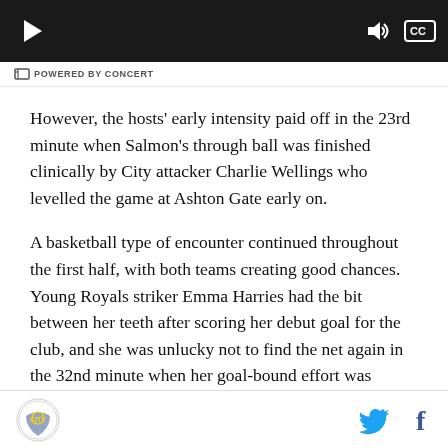[Figure (screenshot): Video player bar showing play button, volume icon, and CC button on dark background]
⊟ POWERED BY CONCERT
However, the hosts' early intensity paid off in the 23rd minute when Salmon's through ball was finished clinically by City attacker Charlie Wellings who levelled the game at Ashton Gate early on.
A basketball type of encounter continued throughout the first half, with both teams creating good chances. Young Royals striker Emma Harries had the bit between her teeth after scoring her debut goal for the club, and she was unlucky not to find the net again in the 32nd minute when her goal-bound effort was deflected over the bar.
Logo | Twitter | Facebook icons